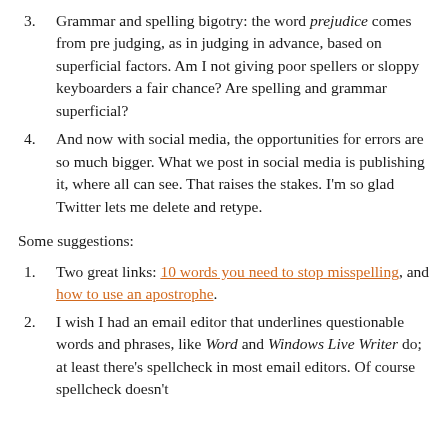3. Grammar and spelling bigotry: the word prejudice comes from pre judging, as in judging in advance, based on superficial factors. Am I not giving poor spellers or sloppy keyboarders a fair chance? Are spelling and grammar superficial?
4. And now with social media, the opportunities for errors are so much bigger. What we post in social media is publishing it, where all can see. That raises the stakes. I'm so glad Twitter lets me delete and retype.
Some suggestions:
1. Two great links: 10 words you need to stop misspelling, and how to use an apostrophe.
2. I wish I had an email editor that underlines questionable words and phrases, like Word and Windows Live Writer do; at least there's spellcheck in most email editors. Of course spellcheck doesn't